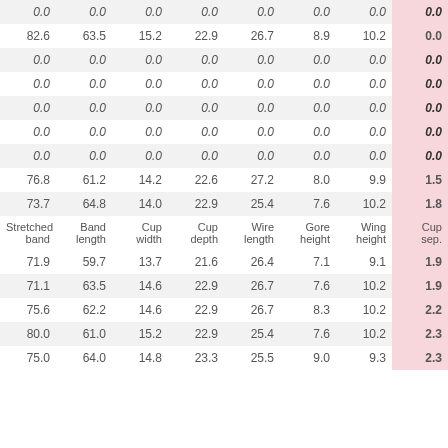| Stretched band | Band length | Cup width | Cup depth | Wire length | Gore height | Wing height | Cup sep. |
| --- | --- | --- | --- | --- | --- | --- | --- |
| 0.0 | 0.0 | 0.0 | 0.0 | 0.0 | 0.0 | 0.0 | 0.0 |
| 82.6 | 63.5 | 15.2 | 22.9 | 26.7 | 8.9 | 10.2 | 0.0 |
| 0.0 | 0.0 | 0.0 | 0.0 | 0.0 | 0.0 | 0.0 | 0.0 |
| 0.0 | 0.0 | 0.0 | 0.0 | 0.0 | 0.0 | 0.0 | 0.0 |
| 0.0 | 0.0 | 0.0 | 0.0 | 0.0 | 0.0 | 0.0 | 0.0 |
| 0.0 | 0.0 | 0.0 | 0.0 | 0.0 | 0.0 | 0.0 | 0.0 |
| 0.0 | 0.0 | 0.0 | 0.0 | 0.0 | 0.0 | 0.0 | 0.0 |
| 76.8 | 61.2 | 14.2 | 22.6 | 27.2 | 8.0 | 9.9 | 1.5 |
| 73.7 | 64.8 | 14.0 | 22.9 | 25.4 | 7.6 | 10.2 | 1.8 |
| 71.9 | 59.7 | 13.7 | 21.6 | 26.4 | 7.1 | 9.1 | 1.9 |
| 71.1 | 63.5 | 14.6 | 22.9 | 26.7 | 7.6 | 10.2 | 1.9 |
| 75.6 | 62.2 | 14.6 | 22.9 | 26.7 | 8.3 | 10.2 | 2.2 |
| 80.0 | 61.0 | 15.2 | 22.9 | 25.4 | 7.6 | 10.2 | 2.3 |
| 75.0 | 64.0 | 14.8 | 23.3 | 25.5 | 9.0 | 9.3 | 2.3 |